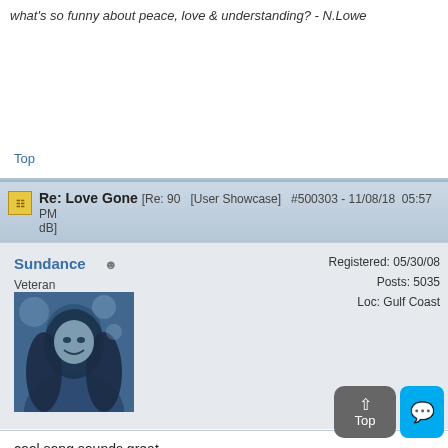What's so funny about peace, love & understanding? - N.Lowe
Top
Re: Love Gone [Re: 90  [User Showcase]  #500303 - 11/08/18  05:57 PM dB]
Sundance  Veteran  Registered: 05/30/08  Posts: 5035  Loc: Gulf Coast
[Figure (photo): Avatar photo of user Sundance - woman with long dark hair smiling, teal/blue toned image]
cool song sounds great
Josie Beck Youtube Channel